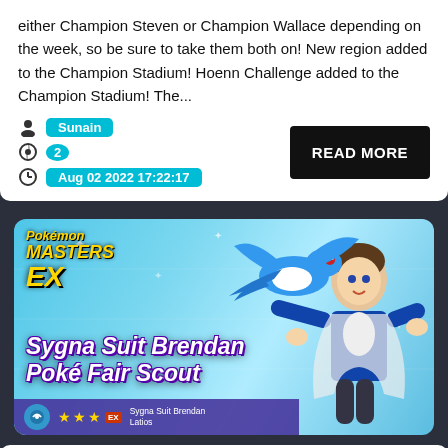either Champion Steven or Champion Wallace depending on the week, so be sure to take them both on! New region added to the Champion Stadium! Hoenn Challenge added to the Champion Stadium! The...
Sunain
2
Aug 02 2022 17:22:17
READ MORE
[Figure (illustration): Pokémon Masters EX promotional banner featuring Sygna Suit Brendan Poké Fair Scout with Latios Pokémon, showing logo, character art, and 5-star EX rating badge]
Pokémon Masters EX – Extreme Battle